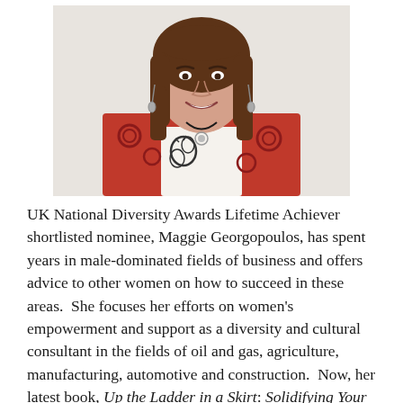[Figure (photo): Portrait photo of Maggie Georgopoulos, a woman with long brown hair, smiling, wearing a red floral blazer over a black and white floral top, with a black cord necklace with a silver pendant and dangling earrings. Background is light/white.]
UK National Diversity Awards Lifetime Achiever shortlisted nominee, Maggie Georgopoulos, has spent years in male-dominated fields of business and offers advice to other women on how to succeed in these areas.  She focuses her efforts on women's empowerment and support as a diversity and cultural consultant in the fields of oil and gas, agriculture, manufacturing, automotive and construction.  Now, her latest book, Up the Ladder in a Skirt: Solidifying Your Leadership, One Bold Step at a Time, is offered as a free download for a limited time through her website.